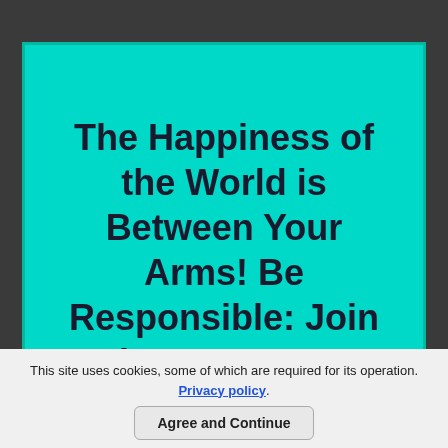The Happiness of the World is Between Your Arms! Be Responsible: Join the Mass Era!
Contact Us!
Climate change with its epidemics, hazardous waste and bacterial,
This site uses cookies, some of which are required for its operation. Privacy policy.
Agree and Continue